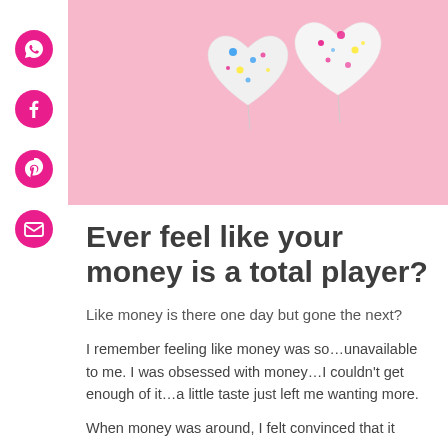[Figure (photo): Two white heart-shaped balloons with colorful speckles on a pink background]
Ever feel like your money is a total player?
Like money is there one day but gone the next?
I remember feeling like money was so…unavailable to me. I was obsessed with money…I couldn't get enough of it…a little taste just left me wanting more.
When money was around, I felt convinced that it